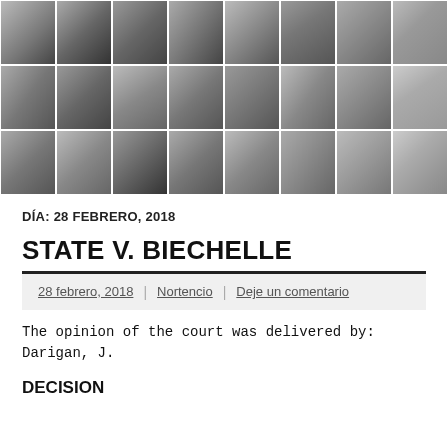[Figure (photo): Black and white photo collage of multiple portrait photographs arranged in a grid, including historical political figures. The last column on the right shows a person's legs and high heels.]
DÍA: 28 FEBRERO, 2018
STATE V. BIECHELLE
28 febrero, 2018 | Nortencio | Deje un comentario
The opinion of the court was delivered by: Darigan, J.
DECISION